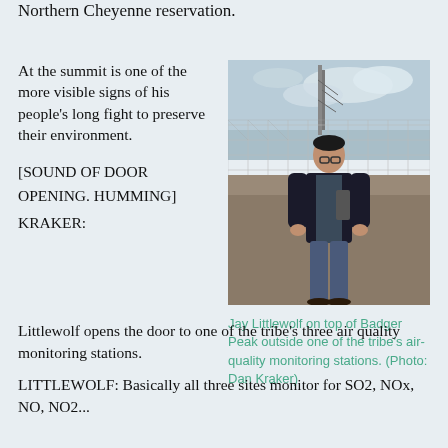Northern Cheyenne reservation.
At the summit is one of the more visible signs of his people's long fight to preserve their environment.
[SOUND OF DOOR OPENING. HUMMING]
KRAKER:
[Figure (photo): A man standing in front of a chain-link fence with industrial structures and a cloudy sky in the background.]
Jay Littlewolf on top of Badger Peak outside one of the tribe's air-quality monitoring stations. (Photo: Dan Kraker)
Littlewolf opens the door to one of the tribe's three air quality monitoring stations.
LITTLEWOLF: Basically all three sites monitor for SO2, NOx, NO, NO2...